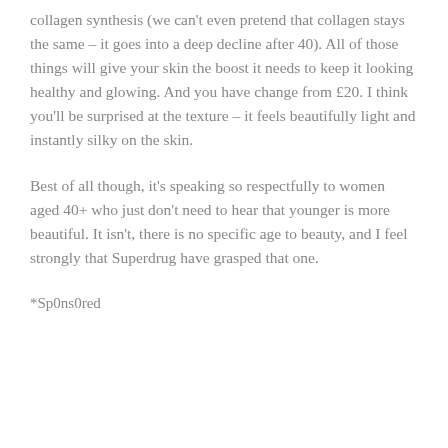collagen synthesis (we can't even pretend that collagen stays the same – it goes into a deep decline after 40). All of those things will give your skin the boost it needs to keep it looking healthy and glowing. And you have change from £20. I think you'll be surprised at the texture – it feels beautifully light and instantly silky on the skin.
Best of all though, it's speaking so respectfully to women aged 40+ who just don't need to hear that younger is more beautiful. It isn't, there is no specific age to beauty, and I feel strongly that Superdrug have grasped that one.
*Sp0ns0red